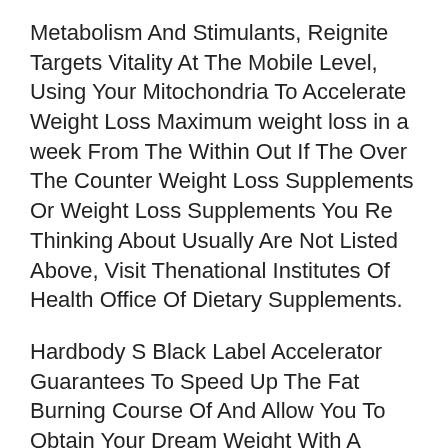Metabolism And Stimulants, Reignite Targets Vitality At The Mobile Level, Using Your Mitochondria To Accelerate Weight Loss Maximum weight loss in a week From The Within Out If The Over The Counter Weight Loss Supplements Or Weight Loss Supplements You Re Thinking About Usually Are Not Listed Above, Visit Thenational Institutes Of Health Office Of Dietary Supplements.
Hardbody S Black Label Accelerator Guarantees To Speed Up The Fat Burning Course Of And Allow You To Obtain Your Dream Weight With A Method That S Caffeine Free And Has Pure Ingredients, You Won T Really Feel The Jitters That Weightloss drug